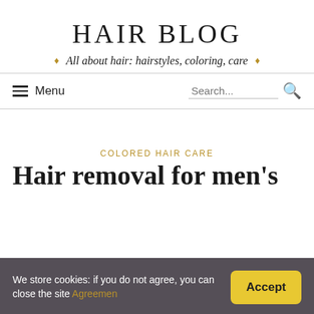HAIR BLOG
All about hair: hairstyles, coloring, care
Menu  Search...
COLORED HAIR CARE
Hair removal for men's
We store cookies: if you do not agree, you can close the site Agreemen  Accept